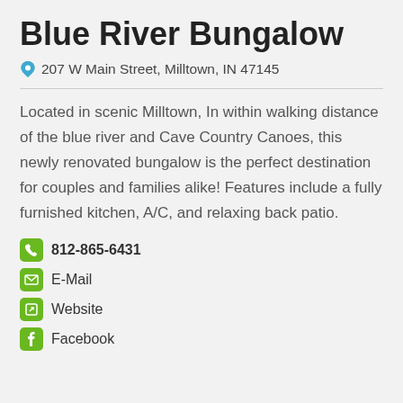Blue River Bungalow
📍 207 W Main Street, Milltown, IN 47145
Located in scenic Milltown, In within walking distance of the blue river and Cave Country Canoes, this newly renovated bungalow is the perfect destination for couples and families alike! Features include a fully furnished kitchen, A/C, and relaxing back patio.
📞 812-865-6431
✉ E-Mail
🔗 Website
f Facebook